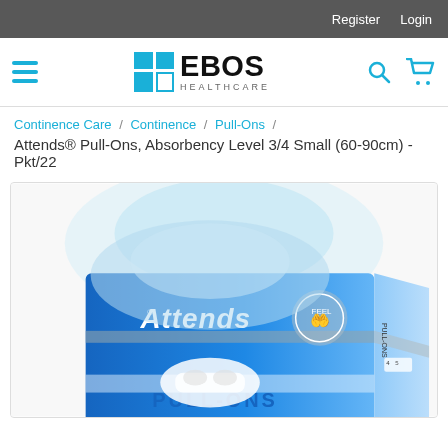Register  Login
[Figure (logo): EBOS Healthcare logo with blue grid squares and text]
Continence Care / Continence / Pull-Ons /
Attends® Pull-Ons, Absorbency Level 3/4 Small (60-90cm) - Pkt/22
[Figure (photo): Attends Pull-Ons product packaging - blue box showing Pull-Ons incontinence pants with Attends branding and PULL-ONS text at bottom]